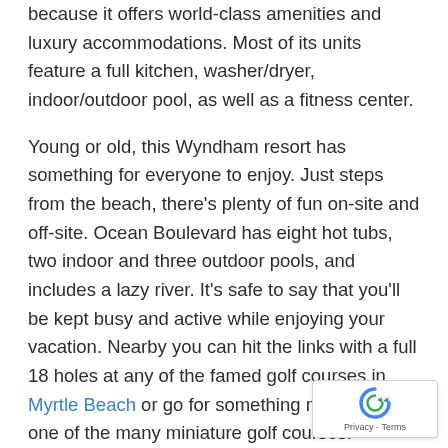because it offers world-class amenities and luxury accommodations. Most of its units feature a full kitchen, washer/dryer, indoor/outdoor pool, as well as a fitness center.
Young or old, this Wyndham resort has something for everyone to enjoy. Just steps from the beach, there's plenty of fun on-site and off-site. Ocean Boulevard has eight hot tubs, two indoor and three outdoor pools, and includes a lazy river. It's safe to say that you'll be kept busy and active while enjoying your vacation. Nearby you can hit the links with a full 18 holes at any of the famed golf courses in Myrtle Beach or go for something minimal at one of the many miniature golf courses.
If you want to go sightseeing, you can check out places such as the Great Escapes Kayak